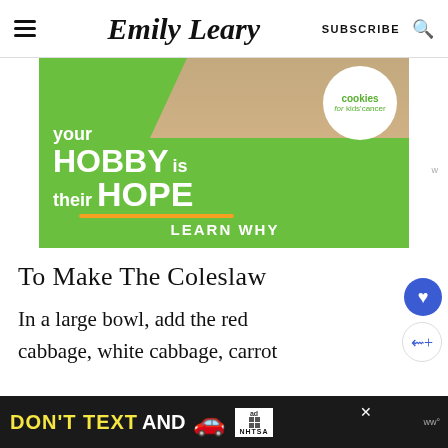Emily Leary | SUBSCRIBE
[Figure (infographic): Green advertisement banner for 'Cookies for Kids Cancer'. Text reads: 'your HOBBY is their HOPE – LEARN WHY'. Features hand holding cookie image and orange underline.]
To Make The Coleslaw
In a large bowl, add the red cabbage, white cabbage, carrot
[Figure (infographic): Black bottom banner advertisement: 'DON'T TEXT AND [car emoji]' with ad logo and NHTSA branding]